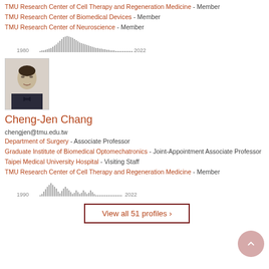TMU Research Center of Cell Therapy and Regeneration Medicine - Member
TMU Research Center of Biomedical Devices - Member
TMU Research Center of Neuroscience - Member
[Figure (histogram): Publications histogram 1980-2022]
[Figure (photo): Headshot photo of Cheng-Jen Chang]
Cheng-Jen Chang
chengjen@tmu.edu.tw
Department of Surgery - Associate Professor
Graduate Institute of Biomedical Optomechatronics - Joint-Appointment Associate Professor
Taipei Medical University Hospital - Visiting Staff
TMU Research Center of Cell Therapy and Regeneration Medicine - Member
[Figure (histogram): Publications histogram 1990-2022]
View all 51 profiles >